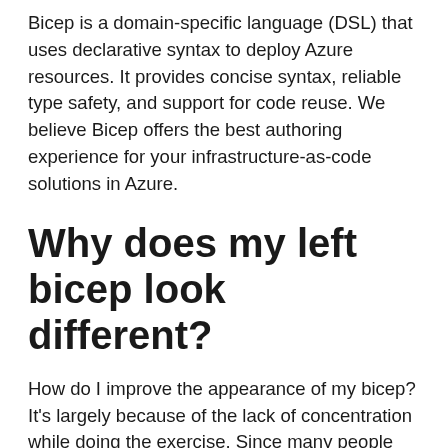Bicep is a domain-specific language (DSL) that uses declarative syntax to deploy Azure resources. It provides concise syntax, reliable type safety, and support for code reuse. We believe Bicep offers the best authoring experience for your infrastructure-as-code solutions in Azure.
Why does my left bicep look different?
How do I improve the appearance of my bicep? It's largely because of the lack of concentration while doing the exercise. Since many people are right handed they tend to overuse their right-side portion body strength while doing exercises. As a result the left-side portion gets less used and